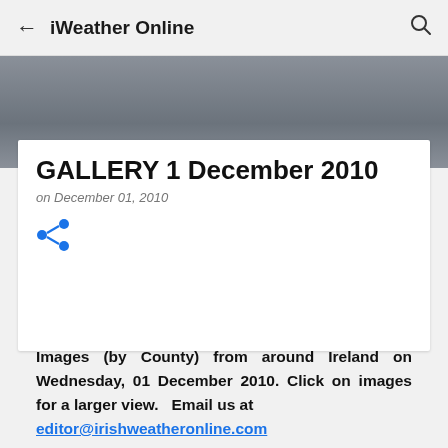iWeather Online
[Figure (photo): Gray gradient image area representing a weather photo banner]
GALLERY 1 December 2010
on December 01, 2010
[Figure (other): Share icon (blue share/network symbol)]
Images (by County) from around Ireland on Wednesday, 01 December 2010. Click on images for a larger view. Email us at editor@irishweatheronline.com with your pic...